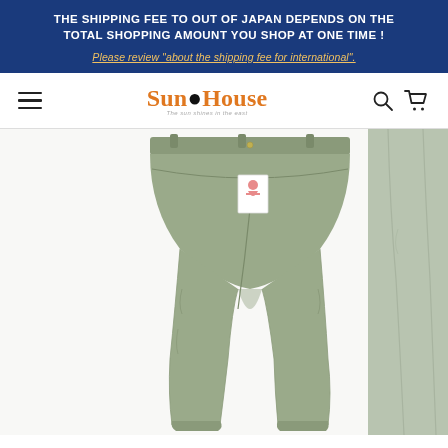THE SHIPPING FEE TO OUT OF JAPAN DEPENDS ON THE TOTAL SHOPPING AMOUNT YOU SHOP AT ONE TIME ! Please review "about the shipping fee for international".
[Figure (logo): Sun●House logo with tagline and navigation icons (hamburger menu, search, cart)]
[Figure (photo): Back view of olive/sage green chinos/trousers laid flat on white background, with a brand tag visible on the back pocket. A partial view of another pair of lighter gray-green trousers is visible on the right edge.]